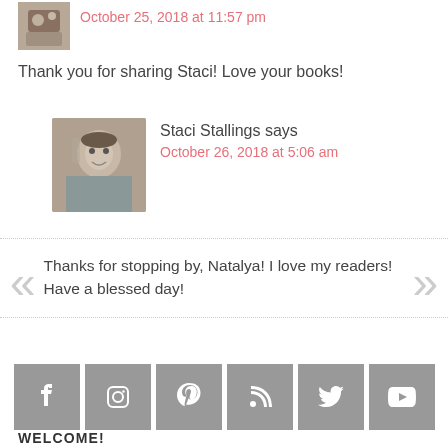October 25, 2018 at 11:57 pm
Thank you for sharing Staci! Love your books!
Staci Stallings says
October 26, 2018 at 5:06 am
Thanks for stopping by, Natalya! I love my readers! Have a blessed day!
[Figure (infographic): Social media icons row: Facebook, Instagram, Pinterest, RSS, Twitter, YouTube — all grey square buttons with white icons]
WELCOME!